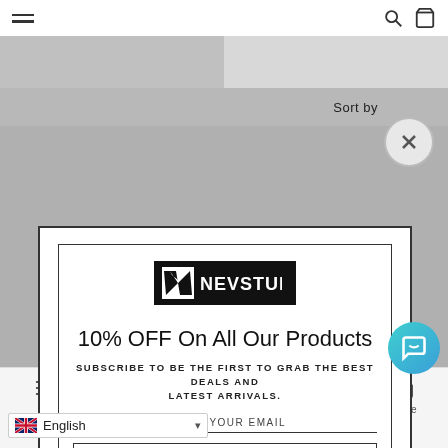NEVSTUDIO — Navigation bar with hamburger menu, search and cart icons
[Figure (screenshot): Gray website banner/header area with two-tone gray strips]
Sort by
[Figure (infographic): Popup modal for NEVSTUDIO discount newsletter signup. Shows logo, 10% OFF On All Our Products, subscribe text, email field, and Activate Discount button.]
NEVSTUDIO
10% OFF On All Our Products
SUBSCRIBE TO BE THE FIRST TO GRAB THE BEST DEALS AND LATEST ARRIVALS.
ENTER YOUR EMAIL
ACTIVATE DISCOUNT
English  Cart  Account  Home